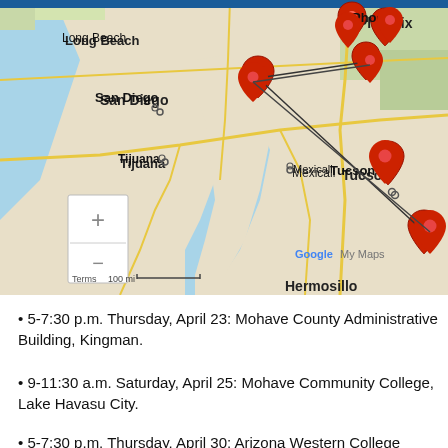[Figure (map): Google My Maps showing southwestern United States and northwestern Mexico, with red location pins marking various cities in Arizona and California/Baja California area. Map labels include Long Beach, San Diego, Tijuana, Mexicali, Phoenix, Tucson, Nogales, Baja California, Sonora, Hermosillo. Zoom controls (+/-) visible on left side. Scale bar shows 100 mi. Lines drawn between some pins.]
• 5-7:30 p.m. Thursday, April 23: Mohave County Administrative Building, Kingman.
• 9-11:30 a.m. Saturday, April 25: Mohave Community College, Lake Havasu City.
• 5-7:30 p.m. Thursday, April 30: Arizona Western College